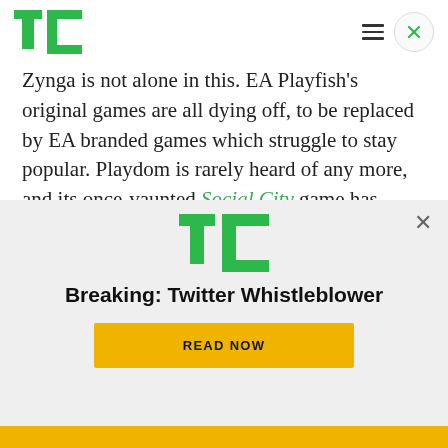TechCrunch logo with hamburger menu and close button
Zynga is not alone in this. EA Playfish’s original games are all dying off, to be replaced by EA branded games which struggle to stay popular. Playdom is rarely heard of any more, and its once-vaunted Social City game has dropped to a mere 40k MAU. Digital Chocolate is in fast retreat, and Wooga is merely holding steady.
Even while Facebook is nearing on that elusive
[Figure (screenshot): TechCrunch advertisement overlay showing TC logo, headline 'Breaking: Twitter Whistleblower', and a yellow READ NOW button, with an X close button in the top right]